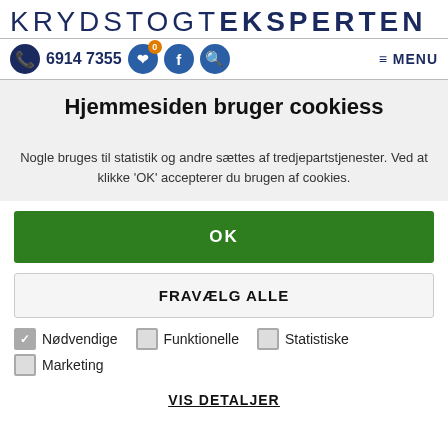KRYDSTOGT EKSPERTEN
6914 7355  MENU
Hjemmesiden bruger cookiess
Nogle bruges til statistik og andre sættes af tredjepartstjenester. Ved at klikke 'OK' accepterer du brugen af cookies.
OK
FRAVÆLG ALLE
Nødvendige (checked), Funktionelle (unchecked), Statistiske (unchecked)
Marketing (unchecked)
VIS DETALJER